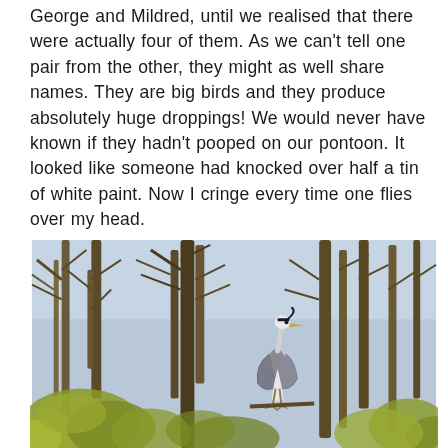George and Mildred, until we realised that there were actually four of them. As we can't tell one pair from the other, they might as well share names. They are big birds and they produce absolutely huge droppings! We would never have known if they hadn't pooped on our pontoon. It looked like someone had knocked over half a tin of white paint. Now I cringe every time one flies over my head.
[Figure (photo): A heron perched in bare winter trees with pale blue sky background and yellow-green foliage below.]